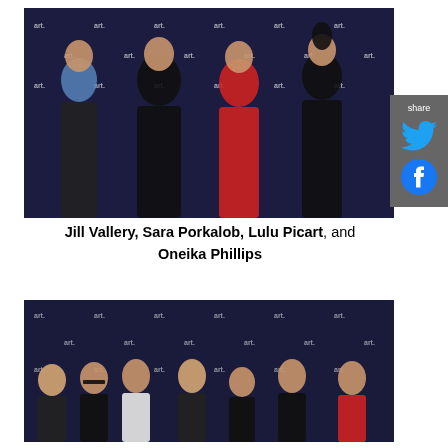[Figure (photo): Four women posing in front of a step-and-repeat backdrop with 'art' logos. From left: woman in denim jacket and black outfit, woman in black dress, woman in red dress, woman in black lace dress with hair up.]
Jill Vallery, Sara Porkalob, Lulu Picart, and Oneika Phillips
[Figure (photo): Group of seven people posing in front of a step-and-repeat backdrop with 'art' logos, dressed in formal/semi-formal attire.]
[Figure (infographic): Share sidebar with Twitter and Facebook icons on dark grey background]